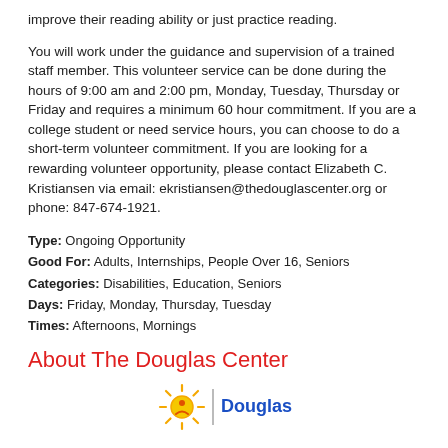improve their reading ability or just practice reading.
You will work under the guidance and supervision of a trained staff member. This volunteer service can be done during the hours of 9:00 am and 2:00 pm, Monday, Tuesday, Thursday or Friday and requires a minimum 60 hour commitment. If you are a college student or need service hours, you can choose to do a short-term volunteer commitment. If you are looking for a rewarding volunteer opportunity, please contact Elizabeth C. Kristiansen via email: ekristiansen@thedouglascenter.org or phone: 847-674-1921.
Type: Ongoing Opportunity
Good For: Adults, Internships, People Over 16, Seniors
Categories: Disabilities, Education, Seniors
Days: Friday, Monday, Thursday, Tuesday
Times: Afternoons, Mornings
About The Douglas Center
[Figure (logo): The Douglas Center logo with sun icon and blue Douglas text]